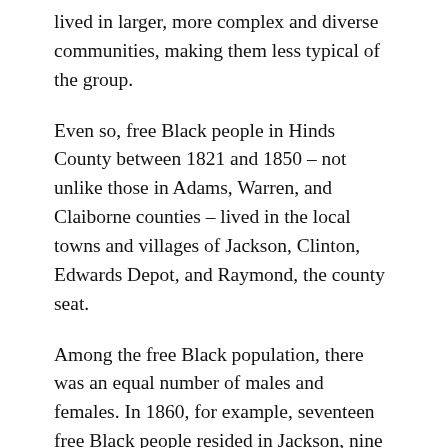lived in larger, more complex and diverse communities, making them less typical of the group.
Even so, free Black people in Hinds County between 1821 and 1850 – not unlike those in Adams, Warren, and Claiborne counties – lived in the local towns and villages of Jackson, Clinton, Edwards Depot, and Raymond, the county seat.
Among the free Black population, there was an equal number of males and females. In 1860, for example, seventeen free Black people resided in Jackson, nine of them were females and eight were males. Nine of the seventeen were adults and eight were children, five of them mulatto. Several of the adults worked as skilled tradesmen – one as a barber, another as a blacksmith – but most, both male and female, earned their